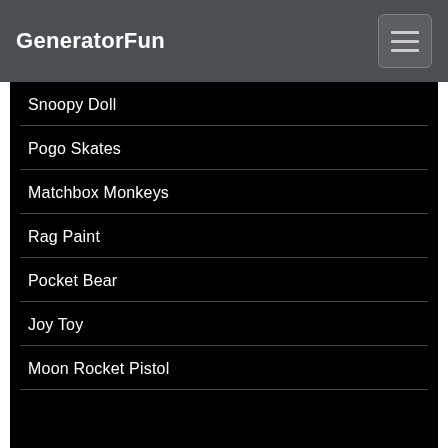GeneratorFun
Snoopy Doll
Pogo Skates
Matchbox Monkeys
Rag Paint
Pocket Bear
Joy Toy
Moon Rocket Pistol